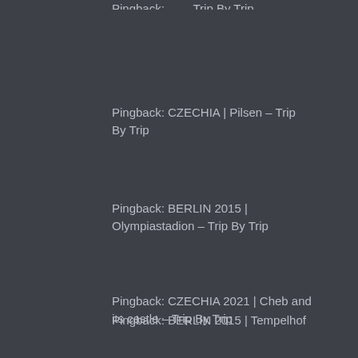Pingback: CZECHIA | Pilsen  – Trip By Trip
Pingback: BERLIN 2015 | Olympiastadion – Trip By Trip
Pingback: CZECHIA 2021 | Cheb and its castle  – Trip By Trip
Pingback: BERLIN 2015 | Tempelhof